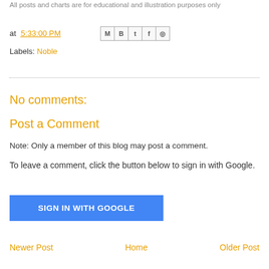All posts and charts are for educational and illustration purposes only
at 5:33:00 PM
Labels: Noble
No comments:
Post a Comment
Note: Only a member of this blog may post a comment.
To leave a comment, click the button below to sign in with Google.
[Figure (other): SIGN IN WITH GOOGLE button (blue rectangle)]
Newer Post    Home    Older Post